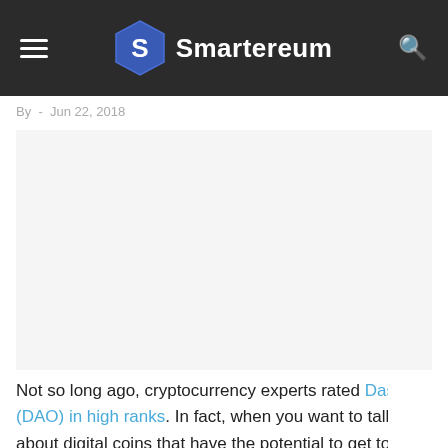Smartereum
By  -  Jun 22, 2018
[Figure (other): Large blank advertisement or image placeholder area]
Not so long ago, cryptocurrency experts rated Dash (DAO) in high ranks. In fact, when you want to talk about digital coins that have the potential to get to the top in the crypto market, Dash (DAO) is am...